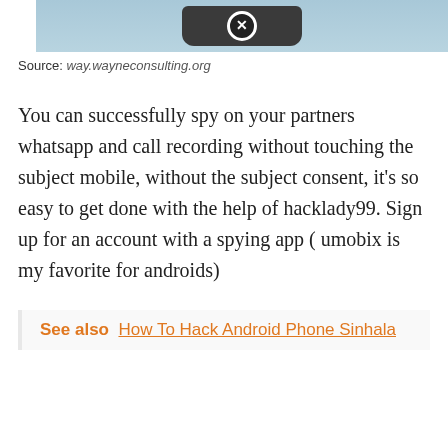[Figure (screenshot): Bottom portion of a smartphone image with a close/exit button on a light blue background]
Source: way.wayneconsulting.org
You can successfully spy on your partners whatsapp and call recording without touching the subject mobile, without the subject consent, it's so easy to get done with the help of hacklady99. Sign up for an account with a spying app ( umobix is my favorite for androids)
See also  How To Hack Android Phone Sinhala
[Figure (photo): Dark background image with white bold text reading CAN YOUR CELLPHONE with a close/exit button overlaid]